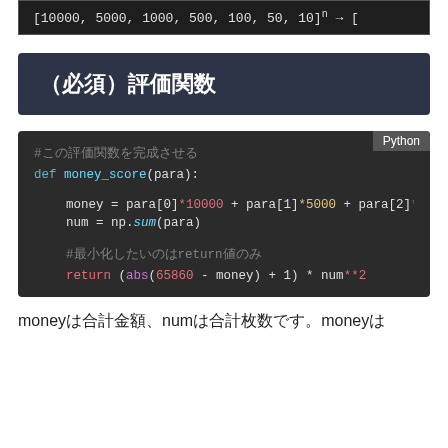（必須）評価関数
[Figure (screenshot): Python code block showing money_score function definition with comment, money calculation using para array, np.sum call, and return statement with abs formula]
moneyは合計金額、numは合計枚数です。moneyは